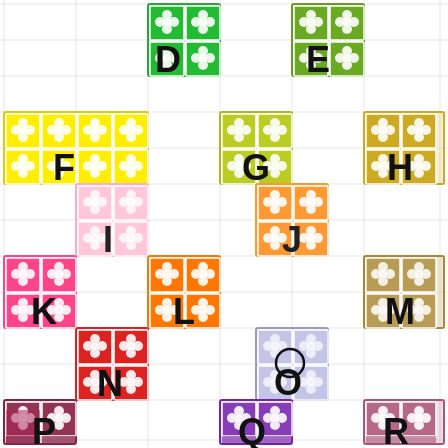[Figure (illustration): A grid-based educational matching or puzzle chart showing colored tile groups labeled D through R. Each labeled group consists of 2x2 colored flower/clover pattern tiles against a light grid background. Colors include green (D, E), yellow (F, G, H), pink (I), orange (J, L), pink-red (K), dark yellow/gold (M), red (N), lavender (O), dark red/maroon (P), purple (Q), and mauve/rose (R).]